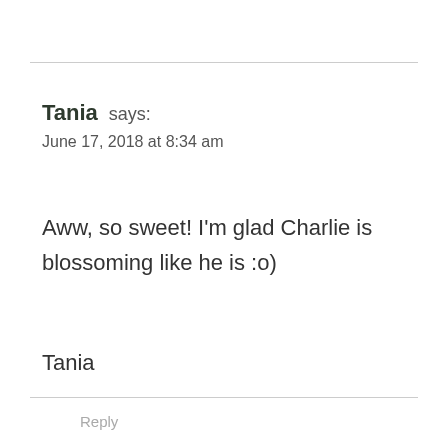Tania says:
June 17, 2018 at 8:34 am
Aww, so sweet! I’m glad Charlie is blossoming like he is :o)
Tania
Reply